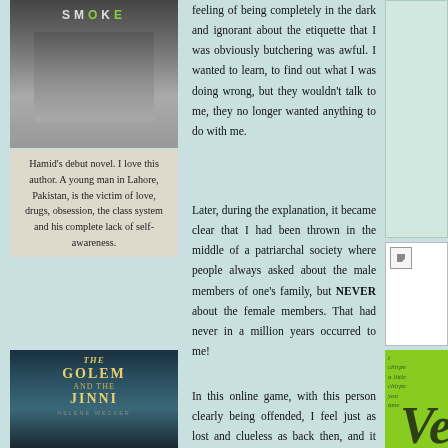[Figure (photo): Book cover for 'Smoke' - dark cover with figure]
Hamid’s debut novel. I love this author. A young man in Lahore, Pakistan, is the victim of love, drugs, obsession, the class system and his complete lack of self-awareness.
feeling of being completely in the dark and ignorant about the etiquette that I was obviously butchering was awful. I wanted to learn, to find out what I was doing wrong, but they wouldn’t talk to me, they no longer wanted anything to do with me.
Later, during the explanation, it became clear that I had been thrown in the middle of a patriarchal society where people always asked about the male members of one’s family, but NEVER about the female members. That had never in a million years occurred to me!
[Figure (photo): Book cover for 'The Golem and the Jinni']
A golem, created in Poland and
In this online game, with this person clearly being offended, I feel just as lost and clueless as back then, and it really
[Figure (photo): Right column top - light teal decorative box]
[Figure (photo): Right column middle - small white box with image placeholder]
[Figure (photo): Right column bottom - green book cover with cursive text and large letter V]